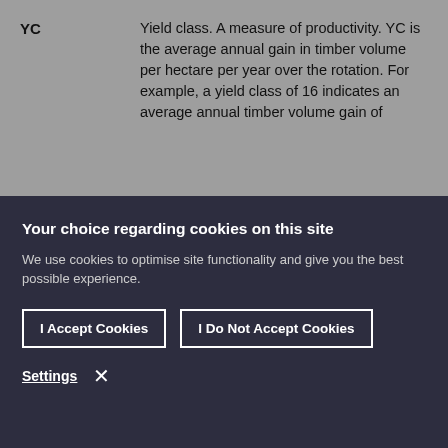YC    Yield class. A measure of productivity. YC is the average annual gain in timber volume per hectare per year over the rotation. For example, a yield class of 16 indicates an average annual timber volume gain of
Your choice regarding cookies on this site
We use cookies to optimise site functionality and give you the best possible experience.
I Accept Cookies
I Do Not Accept Cookies
Settings